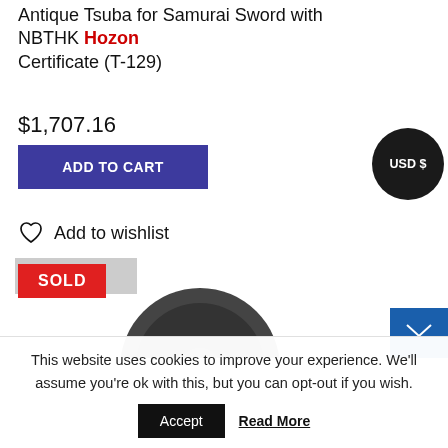Antique Tsuba for Samurai Sword with NBTHK Hozon Certificate (T-129)
$1,707.16
ADD TO CART
USD $
Add to wishlist
SOLD
[Figure (photo): Antique Tsuba (samurai sword guard) shown partially, dark circular metal piece]
This website uses cookies to improve your experience. We'll assume you're ok with this, but you can opt-out if you wish.
Accept
Read More